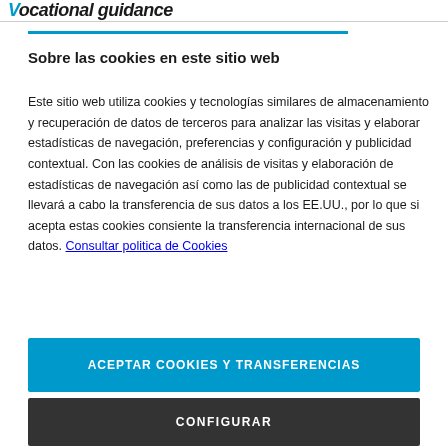Vocational guidance
Sobre las cookies en este sitio web
Este sitio web utiliza cookies y tecnologías similares de almacenamiento y recuperación de datos de terceros para analizar las visitas y elaborar estadísticas de navegación, preferencias y configuración y publicidad contextual. Con las cookies de análisis de visitas y elaboración de estadísticas de navegación así como las de publicidad contextual se llevará a cabo la transferencia de sus datos a los EE.UU., por lo que si acepta estas cookies consiente la transferencia internacional de sus datos. Consultar politica de Cookies
ACEPTAR COOKIES Y TRANSFERENCIAS
CONFIGURAR